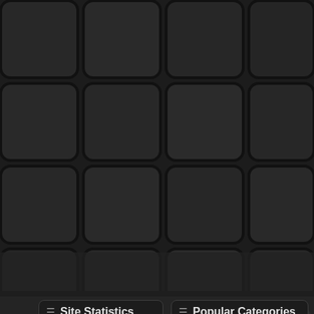[Figure (screenshot): Dark tile/keyboard background occupying upper portion of the page. A browser screenshot card is visible in upper center showing a web directory review site with 'Affiliate Link Dir' text. Partial text on upper right reads 'Each qu... directorie... predeter... competit... direct...' and a partial button 'Re...']
≡ Site Statistics
| Label | Value |
| --- | --- |
| Active Listings : | 1975 |
| Pending Listings : | 1 |
| Today's Listings : | 0 |
| Active Articles : | 244 |
| Pending Articles : | 0 |
| Today's Articles : | 0 |
| Main Categories : | 16 |
| Sub-categories : | 458 |
| Total Submissions : | 5044 |
| Total Rejected : | 3068 |
≡ Popular Categories
Irish
Lao
Norwegian
Macedonian
Georgian
Rastafari Movement
Baha'i Faith
Babism
Yazdânism
Shinto